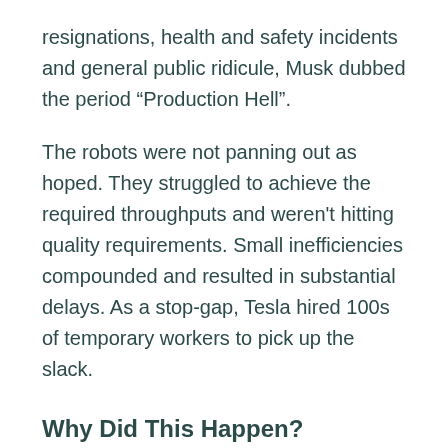resignations, health and safety incidents and general public ridicule, Musk dubbed the period “Production Hell”.
The robots were not panning out as hoped. They struggled to achieve the required throughputs and weren't hitting quality requirements. Small inefficiencies compounded and resulted in substantial delays. As a stop-gap, Tesla hired 100s of temporary workers to pick up the slack.
Why Did This Happen?
Much of Tesla’s production hell was blamed on excessive automation but what caused such a significant deviation between expectations and